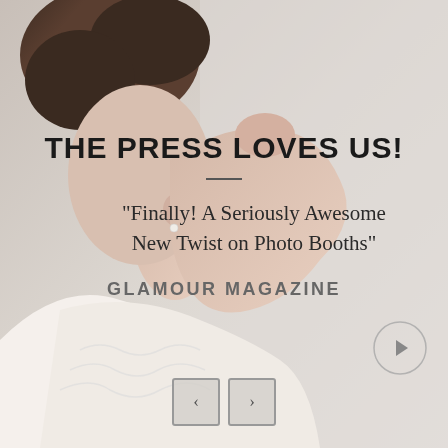[Figure (photo): A woman in a white lace top with dark hair up, photographed from the side/back against a light gray background, touching her hair with one arm raised.]
THE PRESS LOVES US!
“Finally! A Seriously Awesome New Twist on Photo Booths”
GLAMOUR MAGAZINE